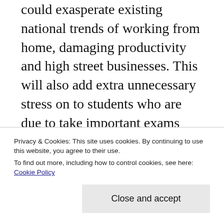could exasperate existing national trends of working from home, damaging productivity and high street businesses. This will also add extra unnecessary stress on to students who are due to take important exams this week, with schools already writing to parents worried about their children missing tests because they can't get to school.

The government cannot support union demands for pay increases of 11%. As we know, there's no such thing as government money –
Privacy & Cookies: This site uses cookies. By continuing to use this website, you agree to their use. To find out more, including how to control cookies, see here: Cookie Policy
Close and accept